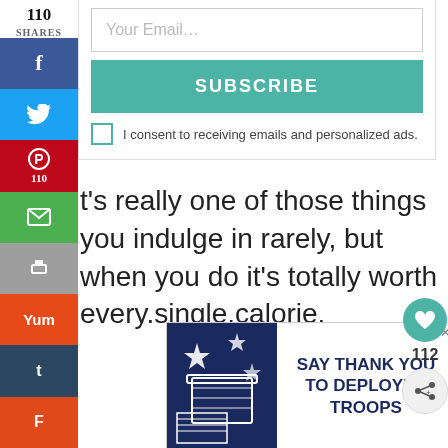110 SHARES
[Figure (screenshot): Social media share sidebar with Facebook, Twitter, Pinterest (110), Email, Print, Yummly, Tumblr, Flipboard buttons]
Your Email...
SUBSCRIBE
I consent to receiving emails and personalized ads.
t's really one of those things you indulge in rarely, but when you do it's totally worth every.single.calorie.
[Figure (screenshot): Advertisement banner: SAY THANK YOU TO DEPLOYED TROOPS with patriotic stars and flag imagery on dark blue background]
112